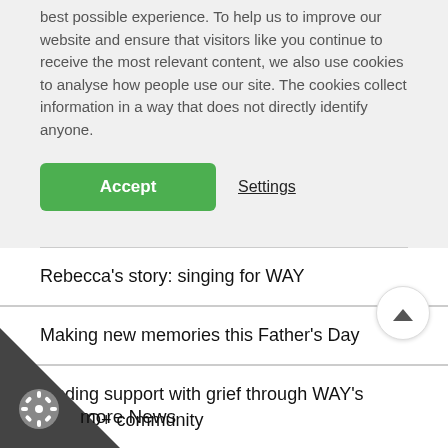best possible experience. To help us to improve our website and ensure that visitors like you continue to receive the most relevant content, we also use cookies to analyse how people use our site. The cookies collect information in a way that does not directly identify anyone.
Accept
Settings
Rebecca's story: singing for WAY
Making new memories this Father's Day
Finding support with grief through WAY's LGBTQ+ community
David's Story
more News